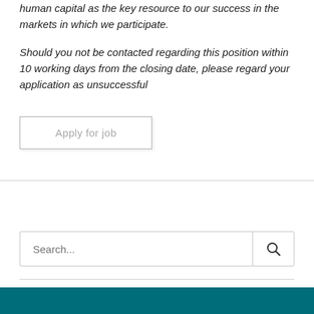human capital as the key resource to our success in the markets in which we participate.
Should you not be contacted regarding this position within 10 working days from the closing date, please regard your application as unsuccessful
Apply for job
Search...